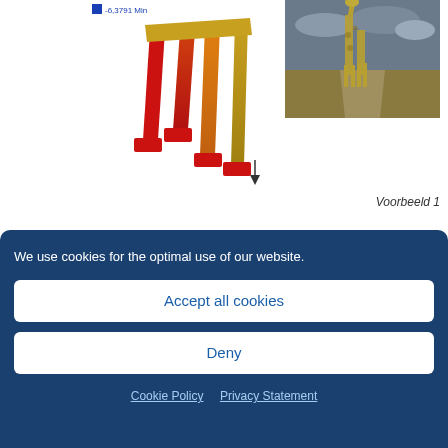[Figure (illustration): FEM/simulation rendering of a structural frame with color-coded stress analysis (red to yellow gradient) with red base supports, partially visible. A legend label shows '-6,3791 Min' in blue.]
[Figure (photo): Outdoor photograph of a large decorative giraffe-shaped sculpture in a field under a cloudy sky.]
Voorbeeld 1
Strength calculations (EEM)
by ste_enadm | Jun 6, 2016 | manufacturing & machinery, process & energy
We use cookies for the optimal use of our website.
Accept all cookies
Deny
Cookie Policy   Privacy Statement